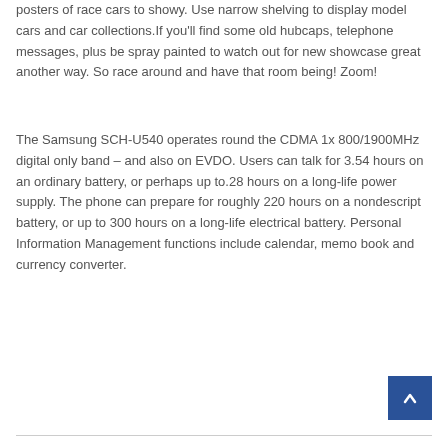posters of race cars to showy. Use narrow shelving to display model cars and car collections.If you'll find some old hubcaps, telephone messages, plus be spray painted to watch out for new showcase great another way. So race around and have that room being! Zoom!
The Samsung SCH-U540 operates round the CDMA 1x 800/1900MHz digital only band – and also on EVDO. Users can talk for 3.54 hours on an ordinary battery, or perhaps up to.28 hours on a long-life power supply. The phone can prepare for roughly 220 hours on a nondescript battery, or up to 300 hours on a long-life electrical battery. Personal Information Management functions include calendar, memo book and currency converter.